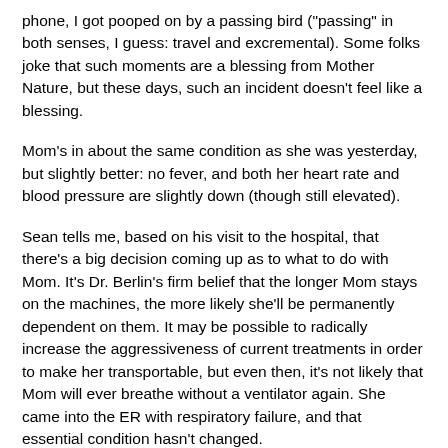phone, I got pooped on by a passing bird ("passing" in both senses, I guess: travel and excremental). Some folks joke that such moments are a blessing from Mother Nature, but these days, such an incident doesn't feel like a blessing.
Mom's in about the same condition as she was yesterday, but slightly better: no fever, and both her heart rate and blood pressure are slightly down (though still elevated).
Sean tells me, based on his visit to the hospital, that there's a big decision coming up as to what to do with Mom. It's Dr. Berlin's firm belief that the longer Mom stays on the machines, the more likely she'll be permanently dependent on them. It may be possible to radically increase the aggressiveness of current treatments in order to make her transportable, but even then, it's not likely that Mom will ever breathe without a ventilator again. She came into the ER with respiratory failure, and that essential condition hasn't changed.
Along with the logistical problems of getting Mom back to Virginia, there's the problem of where to place her. If we opt...